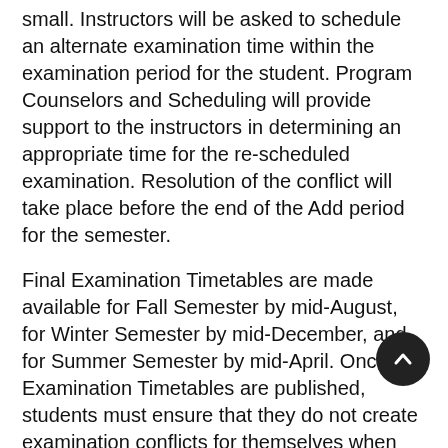small. Instructors will be asked to schedule an alternate examination time within the examination period for the student. Program Counselors and Scheduling will provide support to the instructors in determining an appropriate time for the re-scheduled examination. Resolution of the conflict will take place before the end of the Add period for the semester.
Final Examination Timetables are made available for Fall Semester by mid-August, for Winter Semester by mid-December, and for Summer Semester by mid-April. Once Examination Timetables are published, students must ensure that they do not create examination conflicts for themselves when adding courses in subsequent Add periods. For further information, see Student's Responsibilities above. Other responsibilities of the Examinations Coordinator include:
1. Distributing the “Final Exam Request Form” from Scheduling to Chair/Director and department